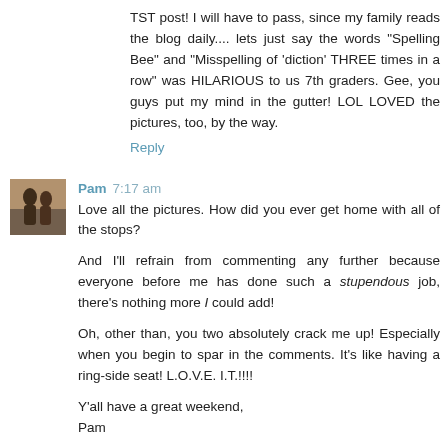TST post! I will have to pass, since my family reads the blog daily.... lets just say the words "Spelling Bee" and "Misspelling of 'diction' THREE times in a row" was HILARIOUS to us 7th graders. Gee, you guys put my mind in the gutter! LOL LOVED the pictures, too, by the way.
Reply
Pam 7:17 am
Love all the pictures. How did you ever get home with all of the stops?
And I'll refrain from commenting any further because everyone before me has done such a stupendous job, there's nothing more I could add!
Oh, other than, you two absolutely crack me up! Especially when you begin to spar in the comments. It's like having a ring-side seat! L.O.V.E. I.T.!!!!
Y'all have a great weekend,
Pam